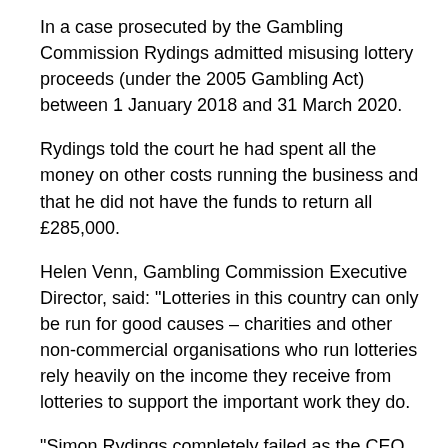In a case prosecuted by the Gambling Commission Rydings admitted misusing lottery proceeds (under the 2005 Gambling Act) between 1 January 2018 and 31 March 2020.
Rydings told the court he had spent all the money on other costs running the business and that he did not have the funds to return all £285,000.
Helen Venn, Gambling Commission Executive Director, said: "Lotteries in this country can only be run for good causes – charities and other non-commercial organisations who run lotteries rely heavily on the income they receive from lotteries to support the important work they do.
"Simon Rydings completely failed as the CEO of a company with a Gambling Commission licence (ELM) and is now paying the price.
"Consumers in this country deserve to know that when